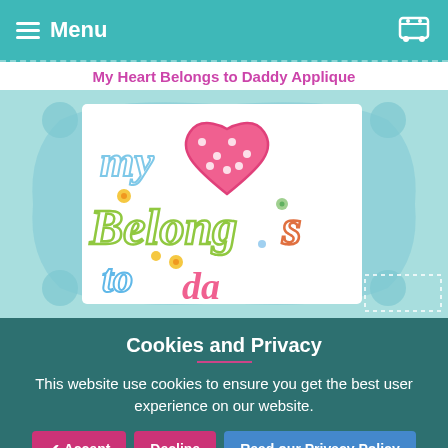Menu
My Heart Belongs to Daddy Applique
[Figure (photo): Embroidery applique design showing colorful text 'my heart belongs to daddy' with a pink polka-dot heart, displayed on a white fabric/card against a light teal pillow-shaped background]
Cookies and Privacy
This website use cookies to ensure you get the best user experience on our website.
✔ Accept  Decline  Read our Privacy Policy